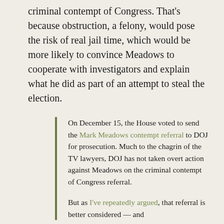criminal contempt of Congress. That's because obstruction, a felony, would pose the risk of real jail time, which would be more likely to convince Meadows to cooperate with investigators and explain what he did as part of an attempt to steal the election.
On December 15, the House voted to send the Mark Meadows contempt referral to DOJ for prosecution. Much to the chagrin of the TV lawyers, DOJ has not taken overt action against Meadows on the criminal contempt of Congress referral.
But as I've repeatedly argued, that referral is better considered — and